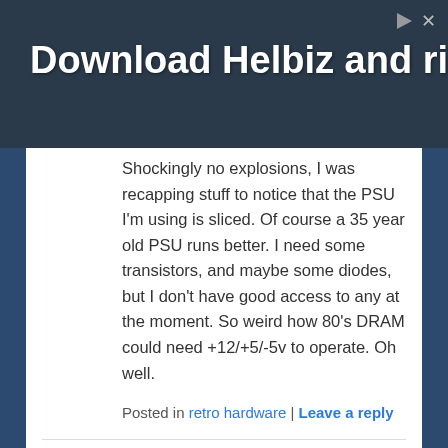[Figure (photo): Advertisement banner for Helbiz with text 'Download Helbiz and ride' overlaid on a dark urban photo, with a play icon and close button in the top right corner.]
Shockingly no explosions, I was recapping stuff to notice that the PSU I'm using is sliced. Of course a 35 year old PSU runs better. I need some transistors, and maybe some diodes, but I don't have good access to any at the moment. So weird how 80's DRAM could need +12/+5/-5v to operate. Oh well.
Posted in retro hardware | Leave a reply
VOGONS.org turns 20 years old today!
Posted on July 2, 2022 by neozeed
Stiletto had dropped on by to share this amazing milestone!